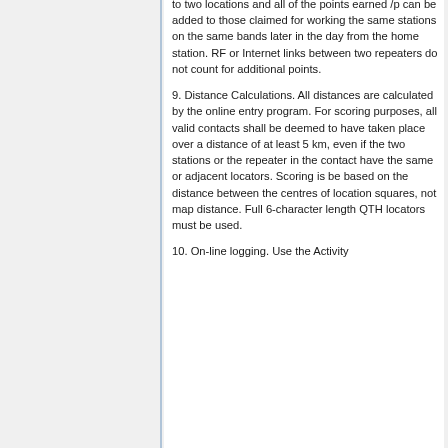to two locations and all of the points earned /p can be added to those claimed for working the same stations on the same bands later in the day from the home station. RF or Internet links between two repeaters do not count for additional points.
9. Distance Calculations. All distances are calculated by the online entry program. For scoring purposes, all valid contacts shall be deemed to have taken place over a distance of at least 5 km, even if the two stations or the repeater in the contact have the same or adjacent locators. Scoring is be based on the distance between the centres of location squares, not map distance. Full 6-character length QTH locators must be used.
10. On-line logging. Use the Activity